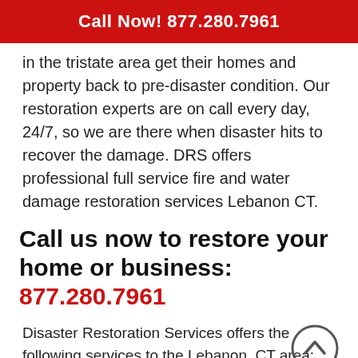Call Now! 877.280.7961
in the tristate area get their homes and property back to pre-disaster condition. Our restoration experts are on call every day, 24/7, so we are there when disaster hits to recover the damage. DRS offers professional full service fire and water damage restoration services Lebanon CT.
Call us now to restore your home or business: 877.280.7961
Disaster Restoration Services offers the following services to the Lebanon, CT area:
Remodeling
Storm Mito...